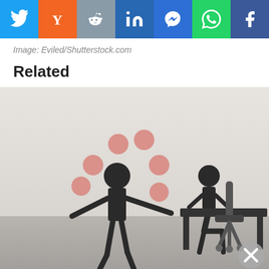[Figure (other): Social media sharing bar with icons: Twitter (blue), Y Combinator (orange), Reddit (gray-blue), LinkedIn (dark blue), Messenger (blue), WhatsApp (green), Facebook (dark blue)]
Image: Eviled/Shutterstock.com
Related
[Figure (illustration): Illustration of a stick figure in a suit juggling six pink/salmon-colored balls with arms outstretched, and a second stick figure seated at a desk with a chair, against a light gray background fading to darker gray at the bottom.]